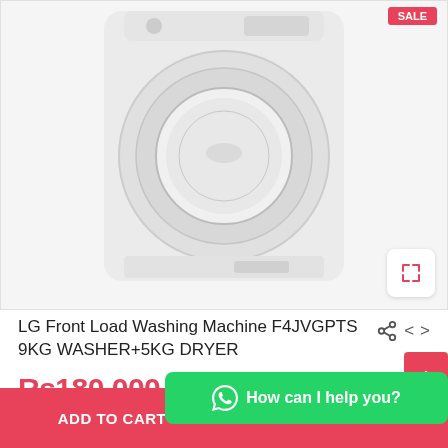[Figure (photo): LG front load washing machine product photo on light gray background, showing circular drum door with LG logo]
LG Front Load Washing Machine F4JVGPTS 9KG WASHER+5KG DRYER
Rs180,000.00
ADD TO CART
BUY NOW
How can I help you?